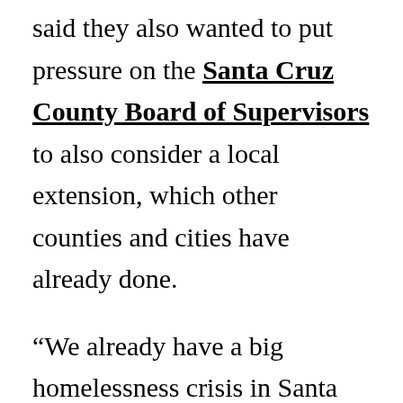said they also wanted to put pressure on the Santa Cruz County Board of Supervisors to also consider a local extension, which other counties and cities have already done.

“We already have a big homelessness crisis in Santa Cruz County,” she said. “If this is not